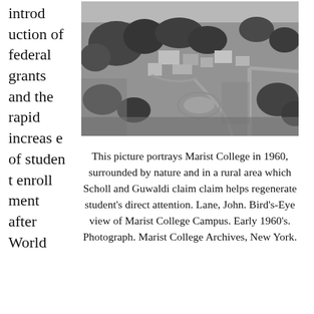introduction of federal grants and the rapid increase of student enrollment after World
[Figure (photo): Black and white aerial photograph of Marist College campus in 1960, surrounded by trees and rural landscape]
This picture portrays Marist College in 1960, surrounded by nature and in a rural area which Scholl and Guwaldi claim claim helps regenerate student's direct attention. Lane, John. Bird's-Eye view of Marist College Campus. Early 1960's. Photograph. Marist College Archives, New York.